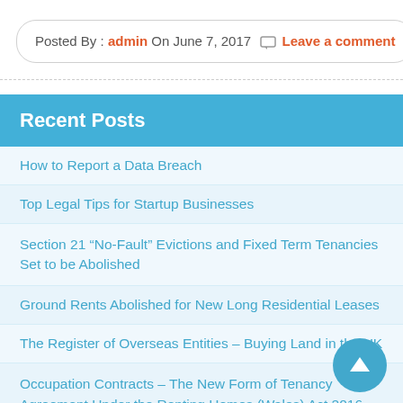Posted By : admin On June 7, 2017  Leave a comment
Recent Posts
How to Report a Data Breach
Top Legal Tips for Startup Businesses
Section 21 “No-Fault” Evictions and Fixed Term Tenancies Set to be Abolished
Ground Rents Abolished for New Long Residential Leases
The Register of Overseas Entities – Buying Land in the UK
Occupation Contracts – The New Form of Tenancy Agreement Under the Renting Homes (Wales) Act 2016
Why You Should be Looking at ESG – Environmental, Social and G…